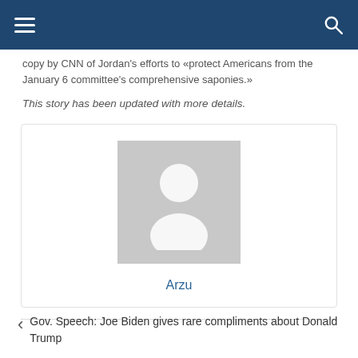Navigation bar with hamburger menu and search icon
copy by CNN of Jordan's efforts to «protect Americans from the January 6 committee's comprehensive saponies.»
This story has been updated with more details.
[Figure (illustration): Author avatar placeholder card with generic person silhouette icon and name 'Arzu' below]
Gov. Speech: Joe Biden gives rare compliments about Donald Trump